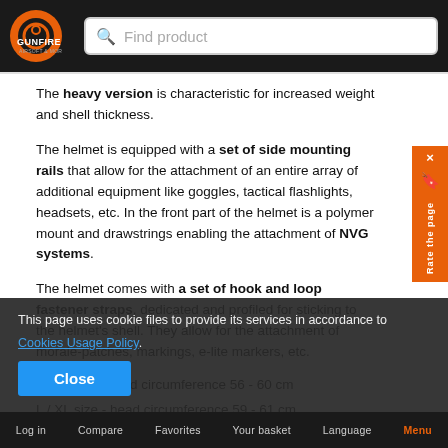GUNFIRE AIRSOFT & MORE — Find product
The heavy version is characteristic for increased weight and shell thickness.
The helmet is equipped with a set of side mounting rails that allow for the attachment of an entire array of additional equipment like goggles, tactical flashlights, headsets, etc. In the front part of the helmet is a polymer mount and drawstrings enabling the attachment of NVG systems.
The helmet comes with a set of hook and loop fastener straps, dedicated and profiled for sticking to the helmet's shell. They allow for the attachment of morale-patches, markings, e-lite markers, etc.
M / L Size - head circumference 56 - 60 cm
L / XL size - head circumference 59 - 61 cm
This page uses cookie files to provide its services in accordance to Cookies Usage Policy. Close
Log in   Compare   Favorites   Your basket   Language   Menu